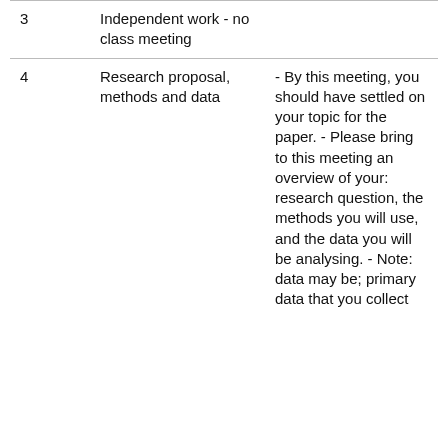|  |  |  |
| --- | --- | --- |
| 3 | Independent work - no class meeting |  |
| 4 | Research proposal, methods and data | - By this meeting, you should have settled on your topic for the paper. - Please bring to this meeting an overview of your: research question, the methods you will use, and the data you will be analysing. - Note: data may be; primary data that you collect... |